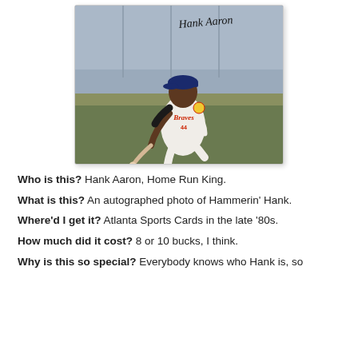[Figure (photo): Autographed photo of Hank Aaron in Atlanta Braves uniform #44, kneeling with a baseball bat, with his signature 'Hank Aaron' written at the top of the photo.]
Who is this? Hank Aaron, Home Run King.
What is this? An autographed photo of Hammerin' Hank.
Where'd I get it? Atlanta Sports Cards in the late '80s.
How much did it cost? 8 or 10 bucks, I think.
Why is this so special? Everybody knows who Hank is, so